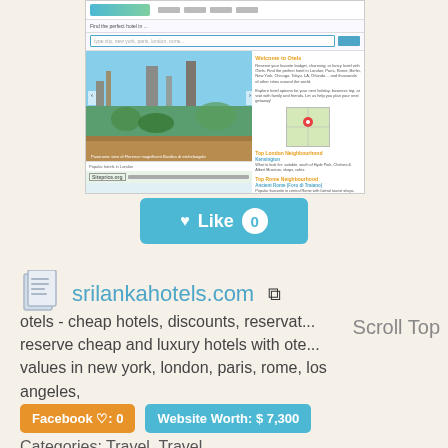[Figure (screenshot): Screenshot of a hotel booking website (Siteprice.org) showing a search bar, a panoramic city image, and hotel neighborhood recommendations]
[Figure (other): Blue 'Like' button with heart icon and count of 0]
srilankahotels.com
otels - cheap hotels, discounts, reservat... reserve cheap and luxury hotels with ote... values in new york, london, paris, rome, los angeles, tokyo
Scroll Top
Facebook ♡: 0
Website Worth: $ 7,300
Categories: Travel, Travel